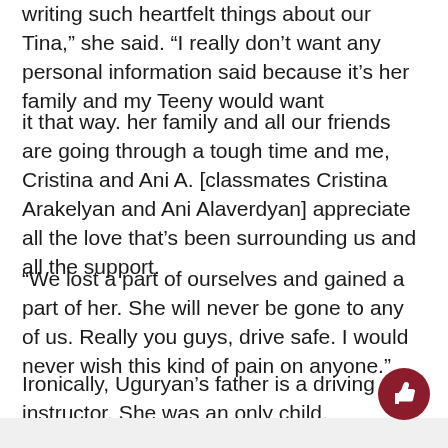writing such heartfelt things about our Tina,” she said. “I really don’t want any personal information said because it’s her family and my Teeny would want
it that way. her family and all our friends are going through a tough time and me, Cristina and Ani A. [classmates Cristina Arakelyan and Ani Alaverdyan] appreciate all the love that’s been surrounding us and all the support.
“We lost a part of ourselves and gained a part of her. She will never be gone to any of us. Really you guys, drive safe. I would never wish this kind of pain on anyone.”
Ironically, Uguryan’s father is a driving instructor. She was an only child.